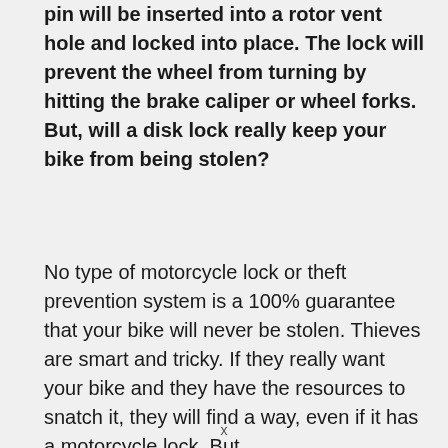pin will be inserted into a rotor vent hole and locked into place. The lock will prevent the wheel from turning by hitting the brake caliper or wheel forks. But, will a disk lock really keep your bike from being stolen?
No type of motorcycle lock or theft prevention system is a 100% guarantee that your bike will never be stolen. Thieves are smart and tricky. If they really want your bike and they have the resources to snatch it, they will find a way, even if it has a motorcycle lock. But, there are things you can do to make it...
x